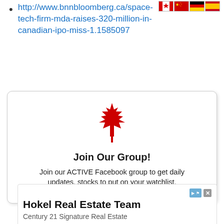http://www.bnnbloomberg.ca/space-tech-firm-mda-raises-320-million-in-canadian-ipo-miss-1.1585097
[Figure (infographic): Flags of Canada, China, Germany, and Spain displayed as small icons in the top right corner]
[Figure (illustration): Red Canadian maple leaf SVG illustration centered in a rounded card]
Join Our Group!
Join our ACTIVE Facebook group to get daily updates, stocks to put on your watchlist,
No compatible source was found for this
Hokel Real Estate Team
Century 21 Signature Real Estate
Hokel Real Estate Team
Learn More